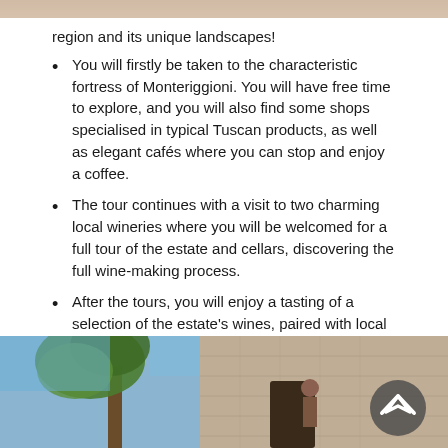[Figure (photo): Partial top edge of a photo, cropped at the top of the page]
region and its unique landscapes!
You will firstly be taken to the characteristic fortress of Monteriggioni. You will have free time to explore, and you will also find some shops specialised in typical Tuscan products, as well as elegant cafés where you can stop and enjoy a coffee.
The tour continues with a visit to two charming local wineries where you will be welcomed for a full tour of the estate and cellars, discovering the full wine-making process.
After the tours, you will enjoy a tasting of a selection of the estate's wines, paired with local meats.
[Figure (photo): Photo of an outdoor scene with a pine tree on the left under a blue sky, and a stone building on the right with a person standing near it. A circular scroll-up button is overlaid on the bottom right.]